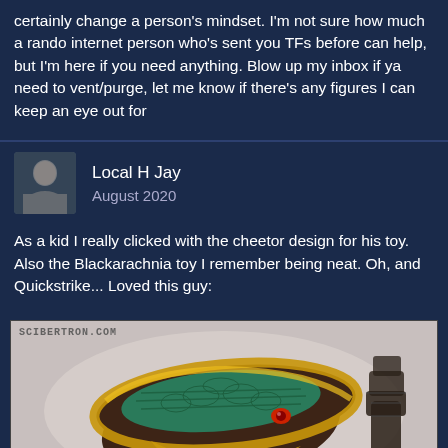certainly change a person's mindset. I'm not sure how much a rando internet person who's sent you TFs before can help, but I'm here if you need anything. Blow up my inbox if ya need to vent/purge, let me know if there's any figures I can keep an eye out for
Local H Jay
August 2020
As a kid I really clicked with the cheetor design for his toy. Also the Blackarachnia toy I remember being neat. Oh, and Quickstrike... Loved this guy:
[Figure (photo): Photo of a Transformers Beast Wars Quickstrike toy - a cobra/snake head in dark brown with teal/green scales, yellow trim, and red eyes. Watermark reads SCIBERTRON.COM.]